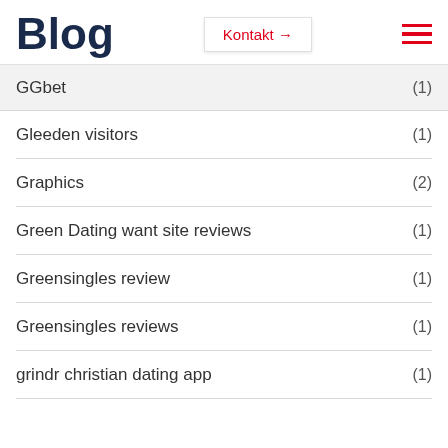Blog
GGbet (1)
Gleeden visitors (1)
Graphics (2)
Green Dating want site reviews (1)
Greensingles review (1)
Greensingles reviews (1)
grindr christian dating app (1)